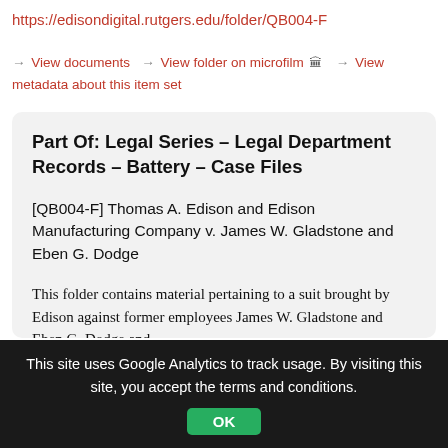https://edisondigital.rutgers.edu/folder/QB004-F
→ View documents → View folder on microfilm 🏛 → View metadata about this item set
Part Of: Legal Series – Legal Department Records – Battery – Case Files
[QB004-F] Thomas A. Edison and Edison Manufacturing Company v. James W. Gladstone and Eben G. Dodge
This folder contains material pertaining to a suit brought by Edison against former employees James W. Gladstone and Eben G. Dodge and
This site uses Google Analytics to track usage. By visiting this site, you accept the terms and conditions.
OK